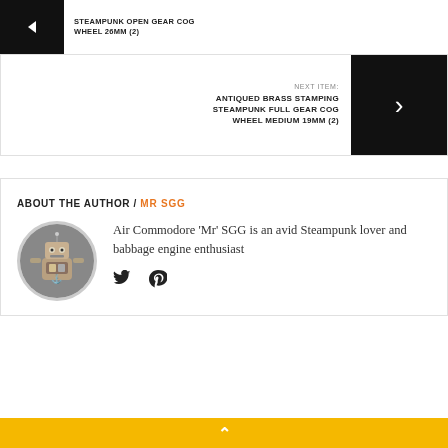STEAMPUNK OPEN GEAR COG WHEEL 26MM (2)
NEXT ITEM: ANTIQUED BRASS STAMPING STEAMPUNK FULL GEAR COG WHEEL MEDIUM 19MM (2)
ABOUT THE AUTHOR / MR SGG
Air Commodore 'Mr' SGG is an avid Steampunk lover and babbage engine enthusiast
^